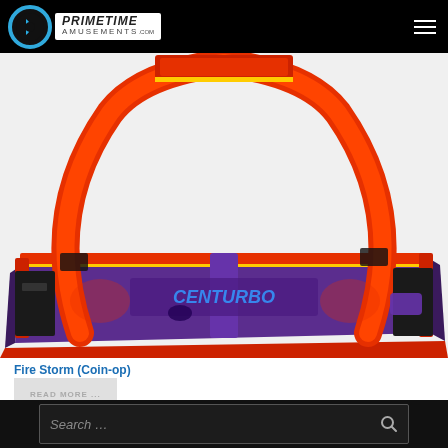Prime Time Amusements .com
[Figure (photo): A Fire Storm air hockey table with bright red/orange frame, arched overhead structure, and purple play surface. Coin-operated arcade game.]
Fire Storm (Coin-op)
READ MORE ...
Search …